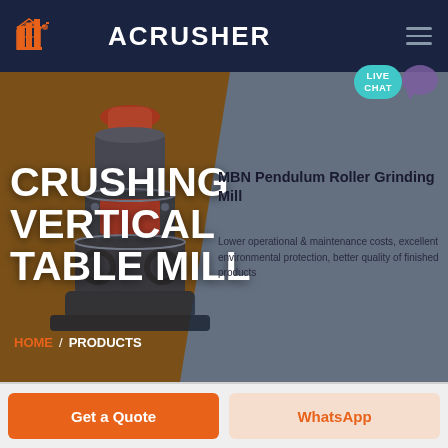ACRUSHER
[Figure (screenshot): ACRUSHER website screenshot showing a crushing vertical table mill product page with hero banner, machine image, product title MBN Pendulum Roller Grinding Mill, navigation breadcrumb HOME / PRODUCTS, and bottom CTA buttons Get a Quote and WhatsApp]
CRUSHING VERTICAL TABLE MILL
MBN Pendulum Roller Grinding Mill
Lower operational & maintenance costs, excellent environmental protection, better quality of finished products
HOME / PRODUCTS
Get a Quote
WhatsApp